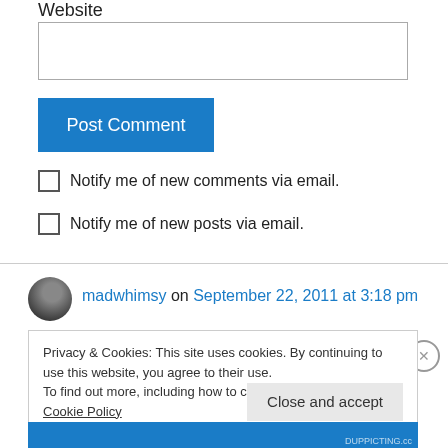Website
[Figure (screenshot): Text input field for website URL]
[Figure (screenshot): Post Comment button (blue)]
Notify me of new comments via email.
Notify me of new posts via email.
madwhimsy on September 22, 2011 at 3:18 pm
Privacy & Cookies: This site uses cookies. By continuing to use this website, you agree to their use. To find out more, including how to control cookies, see here: Cookie Policy